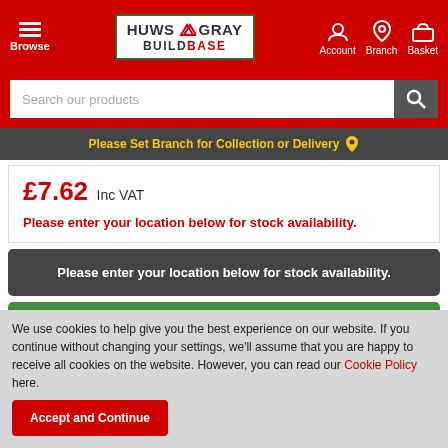Huws Gray Buildbase — Browse | Account | Branch | Basket
Search our products
Please Set Branch for Collection or Delivery
£7.62 Inc VAT
Please enter your location below for stock availability.
Please enter your location below for stock availability.
Enter Location
We use cookies to help give you the best experience on our website. If you continue without changing your settings, we'll assume that you are happy to receive all cookies on the website. However, you can read our Cookie Policy here.
Accept and Continue